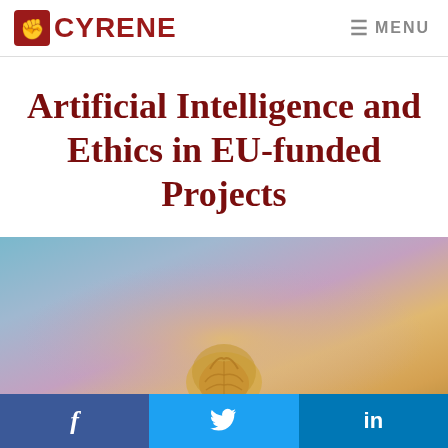GYRENE  ☰ MENU
Artificial Intelligence and Ethics in EU-funded Projects
[Figure (photo): Gradient background image in blues, purples, and golds with a partially visible brain illustration at the bottom center]
[Figure (infographic): Social sharing bar with Facebook, Twitter, and LinkedIn buttons at the bottom of the page]